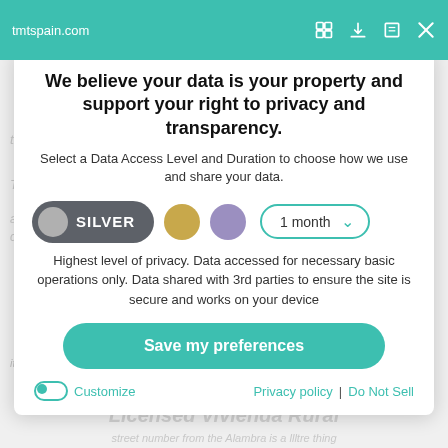tmtspain.com
We believe your data is your property and support your right to privacy and transparency.
Select a Data Access Level and Duration to choose how we use and share your data.
[Figure (infographic): Privacy level selector with Silver button (dark grey pill with grey circle), gold circle, purple circle, and '1 month' dropdown selector with teal border]
Highest level of privacy. Data accessed for necessary basic operations only. Data shared with 3rd parties to ensure the site is secure and works on your device
Save my preferences
Customize
Privacy policy  |  Do Not Sell